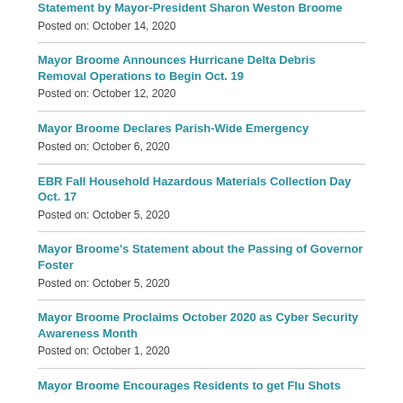Statement by Mayor-President Sharon Weston Broome
Posted on: October 14, 2020
Mayor Broome Announces Hurricane Delta Debris Removal Operations to Begin Oct. 19
Posted on: October 12, 2020
Mayor Broome Declares Parish-Wide Emergency
Posted on: October 6, 2020
EBR Fall Household Hazardous Materials Collection Day Oct. 17
Posted on: October 5, 2020
Mayor Broome's Statement about the Passing of Governor Foster
Posted on: October 5, 2020
Mayor Broome Proclaims October 2020 as Cyber Security Awareness Month
Posted on: October 1, 2020
Mayor Broome Encourages Residents to get Flu Shots